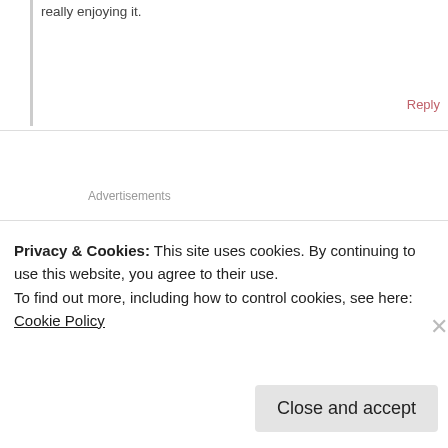really enjoying it.
Reply
Advertisements
[Figure (illustration): Pink and purple geometric avatar/gravatar image for user alison8707]
alison8707
September 11, 2013 at 4:31 am
I think liking Jane better than Helen is somewhat natural.
Privacy & Cookies: This site uses cookies. By continuing to use this website, you agree to their use.
To find out more, including how to control cookies, see here: Cookie Policy
Close and accept